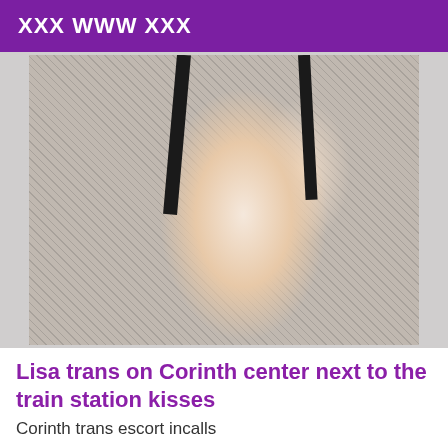XXX WWW XXX
[Figure (photo): A person posing in fishnet stockings and lingerie with straps visible against a white background.]
Lisa trans on Corinth center next to the train station kisses
Corinth trans escort incalls